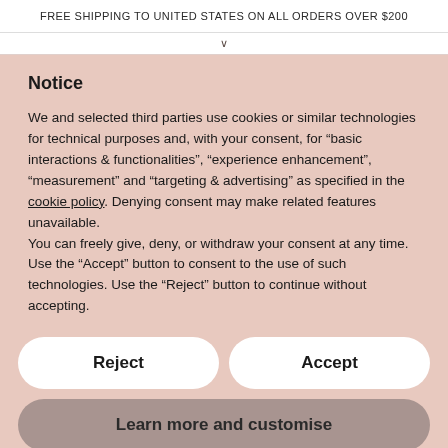FREE SHIPPING TO UNITED STATES ON ALL ORDERS OVER $200
Notice
We and selected third parties use cookies or similar technologies for technical purposes and, with your consent, for “basic interactions & functionalities”, “experience enhancement”, “measurement” and “targeting & advertising” as specified in the cookie policy. Denying consent may make related features unavailable.
You can freely give, deny, or withdraw your consent at any time. Use the “Accept” button to consent to the use of such technologies. Use the “Reject” button to continue without accepting.
Reject
Accept
Learn more and customise